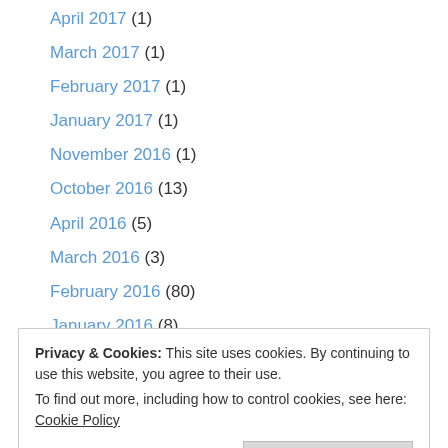April 2017 (1)
March 2017 (1)
February 2017 (1)
January 2017 (1)
November 2016 (1)
October 2016 (13)
April 2016 (5)
March 2016 (3)
February 2016 (80)
January 2016 (8)
December 2015 (66)
November 2015 (115)
Privacy & Cookies: This site uses cookies. By continuing to use this website, you agree to their use. To find out more, including how to control cookies, see here: Cookie Policy